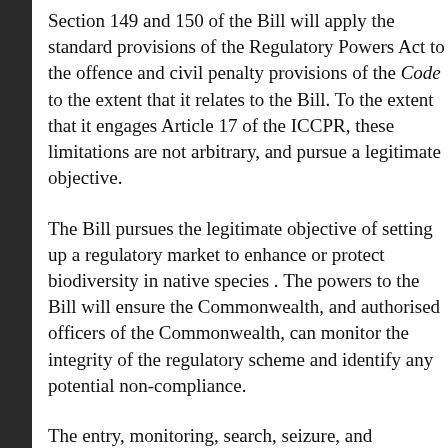Section 149 and 150 of the Bill will apply the standard provisions of the Regulatory Powers Act to the offence and civil penalty provisions of the Code to the extent that it relates to the Bill. To the extent that it engages Article 17 of the ICCPR, these limitations are not arbitrary, and pursue a legitimate objective.
The Bill pursues the legitimate objective of setting up a regulatory market to enhance or protect biodiversity in native species. The powers to the Bill will ensure the Commonwealth, and authorised officers of the Commonwealth, can monitor the integrity of the regulatory scheme and identify any potential non-compliance.
The entry, monitoring, search, seizure, and information gathering under the Powers Act are provided for by law. The powers are necessary to detect the operation of the scheme and any contraventions. They are not arbitrary.
The regime under the Regulatory Powers Act protects against arbitrary monitoring and investigation powers cannot be exercised without prior authorisation in the form of a warrant. Where entry is based on consent, the occupier of the premises can restrict entry by authorised persons. There are provisions requiring authorised persons, and any persons assisting them...
The Regulatory Powers Act also provides restrictions on the use... officer may issue an investigation warrant only when satisfied... suspecting that there is, or may be within 72 hours, evident...